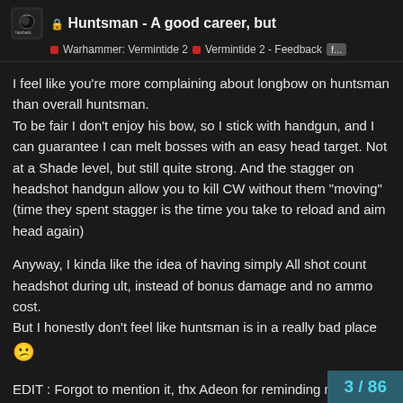🔒 Huntsman - A good career, but | Warhammer: Vermintide 2 | Vermintide 2 - Feedback f...
I feel like you're more complaining about longbow on huntsman than overall huntsman.
To be fair I don't enjoy his bow, so I stick with handgun, and I can guarantee I can melt bosses with an easy head target. Not at a Shade level, but still quite strong. And the stagger on headshot handgun allow you to kill CW without them "moving" (time they spent stagger is the time you take to reload and aim head again)
Anyway, I kinda like the idea of having simply All shot count headshot during ult, instead of bonus damage and no ammo cost.
But I honestly don't feel like huntsman is in a really bad place 😕
EDIT : Forgot to mention it, thx Adeon for reminding me, yeah separating the stealth and damage boost timer is also a nice slight buff that would make him better to
3 / 86